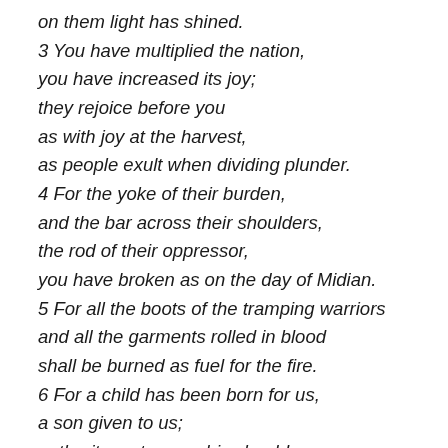on them light has shined.
3 You have multiplied the nation,
you have increased its joy;
they rejoice before you
as with joy at the harvest,
as people exult when dividing plunder.
4 For the yoke of their burden,
and the bar across their shoulders,
the rod of their oppressor,
you have broken as on the day of Midian.
5 For all the boots of the tramping warriors
and all the garments rolled in blood
shall be burned as fuel for the fire.
6 For a child has been born for us,
a son given to us;
authority rests upon his shoulders;